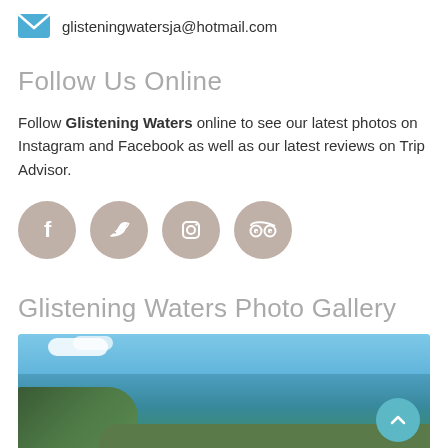glisteningwatersja@hotmail.com
Follow Us Online
Follow Glistening Waters online to see our latest photos on Instagram and Facebook as well as our latest reviews on Trip Advisor.
[Figure (infographic): Four social media icon circles: Facebook (f), Twitter (bird), Instagram (camera), TripAdvisor (owl face)]
Glistening Waters Photo Gallery
[Figure (photo): Aerial photo of Glistening Waters marina with blue Caribbean water, boats, lush green shoreline, hills in background and blue sky with clouds.]